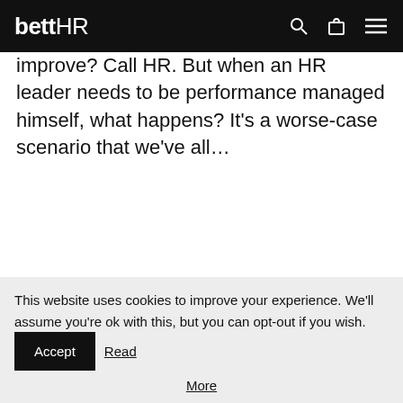bettHR
improve? Call HR. But when an HR leader needs to be performance managed himself, what happens? It's a worse-case scenario that we've all…
Read More
[Figure (photo): Office scene with a person in front of a whiteboard with charts and papers]
This website uses cookies to improve your experience. We'll assume you're ok with this, but you can opt-out if you wish. Accept Read More